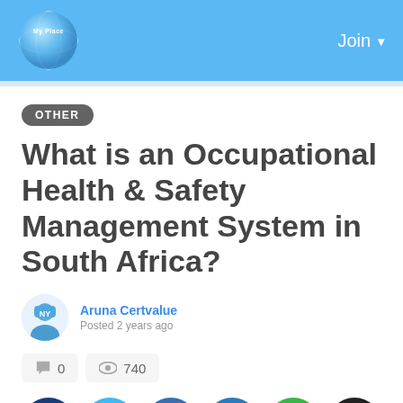My Place — Join
OTHER
What is an Occupational Health & Safety Management System in South Africa?
Aruna Certvalue
Posted 2 years ago
0  740